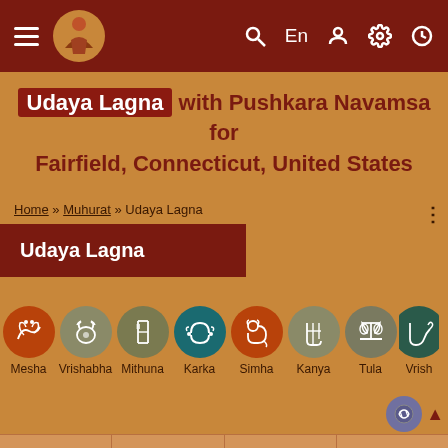Navigation bar with hamburger menu, logo, search, En, user, settings, clock icons
Udaya Lagna with Pushkara Navamsa for Fairfield, Connecticut, United States
Home » Muhurat » Udaya Lagna
Udaya Lagna
[Figure (illustration): Row of zodiac sign icons: Mesha (Aries), Vrishabha (Taurus), Mithuna (Gemini), Karka (Cancer), Simha (Leo), Kanya (Virgo), Tula (Libra), Vrish... (Vrishchika, partially visible)]
[Figure (infographic): Bottom action toolbar with four items: Change Date (calendar Oct 7), Goto Today (T letter), Lahiri/Chitra Paksha (globe), Modern Theme (colorful flower)]